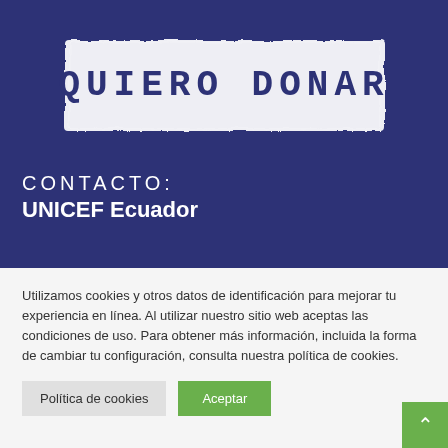[Figure (illustration): White chalk brush stroke banner with 'QUIERO DONAR' text on dark navy blue background]
CONTACTO:
UNICEF Ecuador
Utilizamos cookies y otros datos de identificación para mejorar tu experiencia en línea. Al utilizar nuestro sitio web aceptas las condiciones de uso. Para obtener más información, incluida la forma de cambiar tu configuración, consulta nuestra política de cookies.
Política de cookies    Aceptar